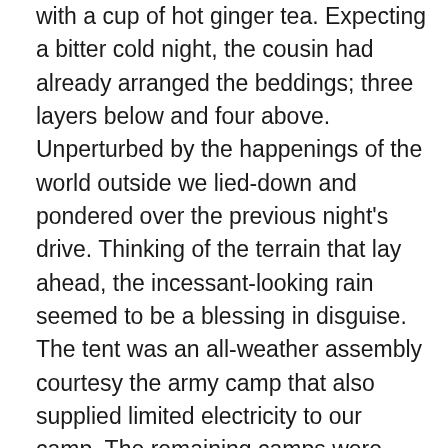with a cup of hot ginger tea. Expecting a bitter cold night, the cousin had already arranged the beddings; three layers below and four above. Unperturbed by the happenings of the world outside we lied-down and pondered over the previous night's drive. Thinking of the terrain that lay ahead, the incessant-looking rain seemed to be a blessing in disguise. The tent was an all-weather assembly courtesy the army camp that also supplied limited electricity to our camp. The remaining camps were without any electricity supply. As the sunlight faded and also because of the weather, many more travellers started pouring inside the settlement for an overnight stay. Amidst all this the rain stopped and we got a chance to step outside unworried of the altitude or the lack of oxygen. Not overcast anymore, the silvery starry-skyscape was a soul-filling treat to the body. The various hues of the night sky – comprising golden, silver, pink, orange, blue sheen